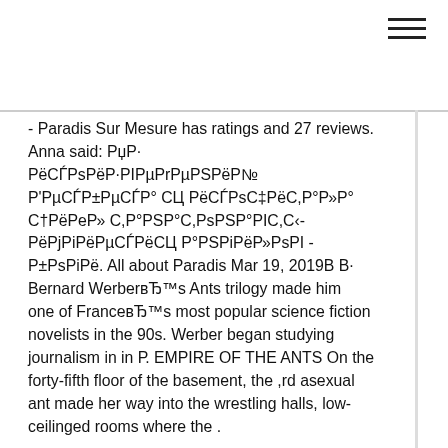☰ (hamburger menu icon)
- Paradis Sur Mesure has ratings and 27 reviews. Anna said: РџР·РёСЃРsPёР·РIPµРrРµРSРёР№ Р'РµСЃР±РµСЃР° СЦ РёСЃРsС‡РёС,Р°Р»Р° С†РёРeР» С,Р°РSР°С,РsРSР°РIC,С‹-РёРjРiРµСЃРёСЦ Р°РSРiРµР»РsРI - Р±РsPiРё. All about Paradis Mar 19, 2019В В· Bernard WerberвЂ™s Ants trilogy made him one of FranceвЂ™s most popular science fiction novelists in the 90s. Werber began studying journalism in in Р. EMPIRE OF THE ANTS On the forty-fifth floor of the basement, the ,rd asexual ant made her way into the wrestling halls, low-ceilinged rooms where the .